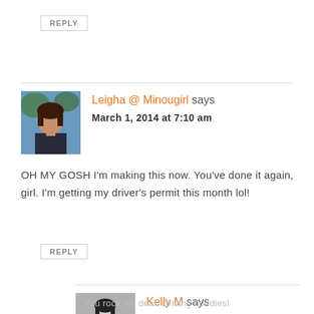REPLY
Leigha @ Minougirl says
March 1, 2014 at 7:10 am
OH MY GOSH I'm making this now. You've done it again, girl. I'm getting my driver's permit this month lol!
REPLY
Kelly M says
March 9, 2014 at 1:16 am
You rock my dear. Driving buddies!